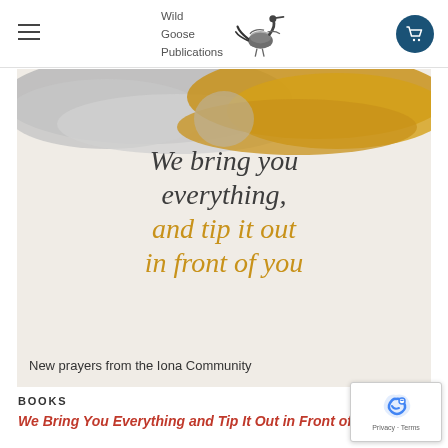Wild Goose Publications
[Figure (screenshot): Book cover image showing silver and gold paint blobs merging at top, with handwritten-style text: 'We bring you everything, and tip it out in front of you' and subtitle 'New prayers from the Iona Community']
BOOKS
We Bring You Everything and Tip It Out in Front of You